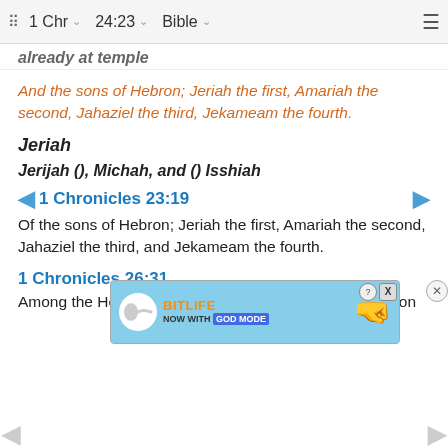1 Chr  24:23  Bible
already at temple
And the sons of Hebron; Jeriah the first, Amariah the second, Jahaziel the third, Jekameam the fourth.
Jeriah
Jerijah (), Michah, and () Isshiah
1 Chronicles 23:19
Of the sons of Hebron; Jeriah the first, Amariah the second, Jahaziel the third, and Jekameam the fourth.
1 Chronicles 26:31
Among the Hebronites was Jerijah the chief, even among the ... tions of his